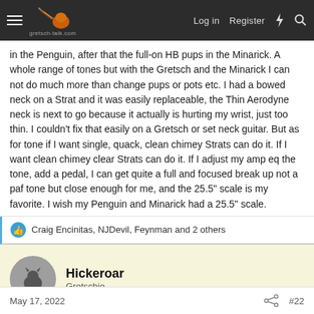gretsch-talk.com — Login | Register
in the Penguin, after that the full-on HB pups in the Minarick. A whole range of tones but with the Gretsch and the Minarick I can not do much more than change pups or pots etc. I had a bowed neck on a Strat and it was easily replaceable, the Thin Aerodyne neck is next to go because it actually is hurting my wrist, just too thin. I couldn't fix that easily on a Gretsch or set neck guitar. But as for tone if I want single, quack, clean chimey Strats can do it. If I want clean chimey clear Strats can do it. If I adjust my amp eq the tone, add a pedal, I can get quite a full and focused break up not a paf tone but close enough for me, and the 25.5" scale is my favorite. I wish my Penguin and Minarick had a 25.5" scale.
Craig Encinitas, NJDevil, Feynman and 2 others
Hickeroar
Gretschie
May 17, 2022
#22